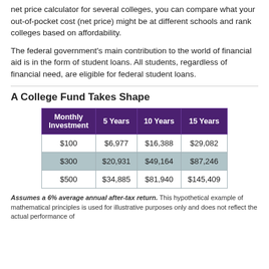net price calculator for several colleges, you can compare what your out-of-pocket cost (net price) might be at different schools and rank colleges based on affordability.
The federal government's main contribution to the world of financial aid is in the form of student loans. All students, regardless of financial need, are eligible for federal student loans.
A College Fund Takes Shape
| Monthly Investment | 5 Years | 10 Years | 15 Years |
| --- | --- | --- | --- |
| $100 | $6,977 | $16,388 | $29,082 |
| $300 | $20,931 | $49,164 | $87,246 |
| $500 | $34,885 | $81,940 | $145,409 |
Assumes a 6% average annual after-tax return. This hypothetical example of mathematical principles is used for illustrative purposes only and does not reflect the actual performance of